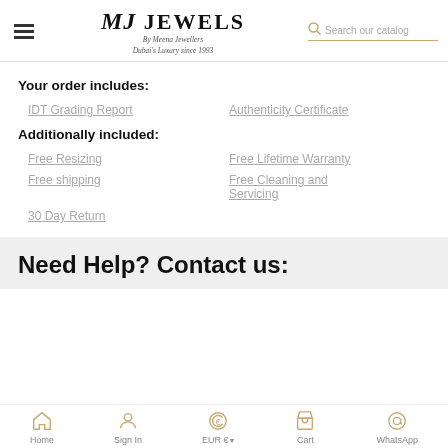MJ JEWELS By Meena Jewellers Dubai's Luxury since 1993
Your order includes:
IDT Grading Report
Authenticity Certificate
Additionally included:
Free Resizing
Free Lifetime Warranty
Free shipping
Free Cleaning and Servicing
30 Day Return
Need Help? Contact us:
Home  Sign In  EUR €  Cart  WhatsApp